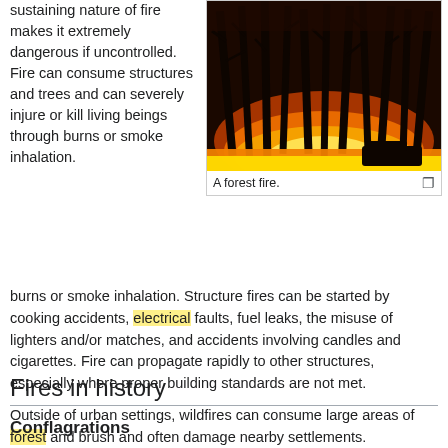sustaining nature of fire makes it extremely dangerous if uncontrolled. Fire can consume structures and trees and can severely injure or kill living beings through burns or smoke inhalation.
[Figure (photo): A forest fire photograph showing tall trees silhouetted against intense orange and yellow flames at ground level, viewed from below looking upward.]
A forest fire.
Structure fires can be started by cooking accidents, electrical faults, fuel leaks, the misuse of lighters and/or matches, and accidents involving candles and cigarettes. Fire can propagate rapidly to other structures, especially where proper building standards are not met.
Outside of urban settings, wildfires can consume large areas of forest and brush and often damage nearby settlements.
Fires in history
Conflagrations